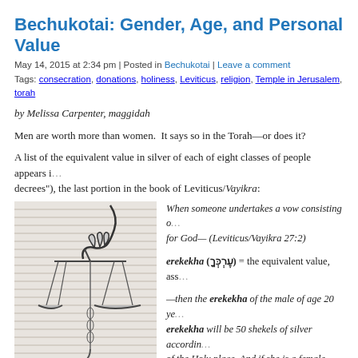Bechukotai: Gender, Age, and Personal Value
May 14, 2015 at 2:34 pm | Posted in Bechukotai | Leave a comment
Tags: consecration, donations, holiness, Leviticus, religion, Temple in Jerusalem, torah
by Melissa Carpenter, maggidah
Men are worth more than women.  It says so in the Torah—or does it?
A list of the equivalent value in silver of each of eight classes of people appears i... decrees"), the last portion in the book of Leviticus/Vayikra:
[Figure (illustration): Black and white illustration of a hand holding a balance scale (scales of justice)]
When someone undertakes a vow consisting of... for God— (Leviticus/Vayikra 27:2)
erekekha (עֶרְכְּךָ) = the equivalent value, asse...
—then the erekekha of the male of age 20 ye... erekekha will be 50 shekels of silver accordin... of the Holy place. And if she is a female, erek... (Leviticus 27:3-4)
And if from age 5 years up to age 20 years, e... male 20 shekels, and for the female 10 sheke...